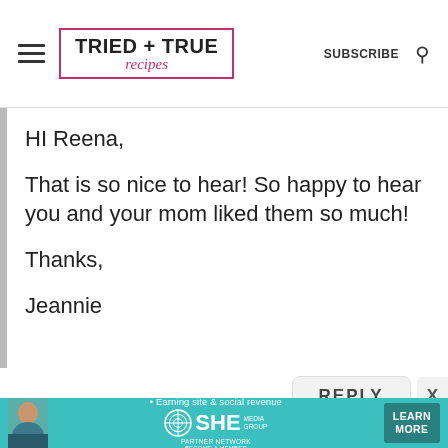[Figure (logo): Tried + True Recipes logo with hamburger menu, subscribe text and search icon in website header]
HI Reena,

That is so nice to hear! So happy to hear you and your mom liked them so much!

Thanks,

Jeannie
[Figure (screenshot): REPLY button and X close button]
[Figure (infographic): SHE Media Partner Network advertisement banner - Earning site & social revenue, LEARN MORE button]